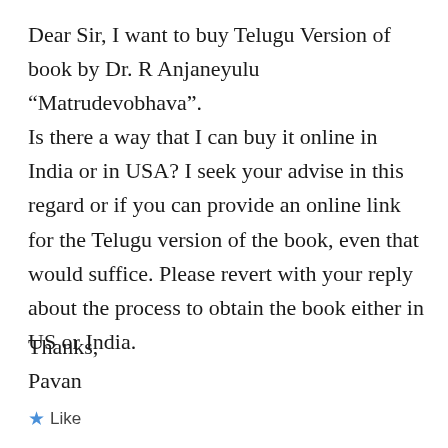Dear Sir, I want to buy Telugu Version of book by Dr. R Anjaneyulu “Matrudevobhava”. Is there a way that I can buy it online in India or in USA? I seek your advise in this regard or if you can provide an online link for the Telugu version of the book, even that would suffice. Please revert with your reply about the process to obtain the book either in US or India.
Thanks,
Pavan
★ Like